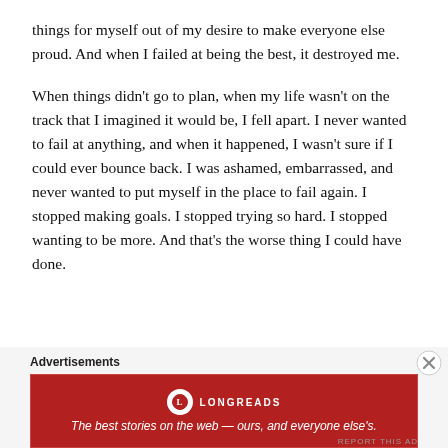things for myself out of my desire to make everyone else proud. And when I failed at being the best, it destroyed me.
When things didn't go to plan, when my life wasn't on the track that I imagined it would be, I fell apart. I never wanted to fail at anything, and when it happened, I wasn't sure if I could ever bounce back. I was ashamed, embarrassed, and never wanted to put myself in the place to fail again. I stopped making goals. I stopped trying so hard. I stopped wanting to be more. And that's the worse thing I could have done.
Advertisements
[Figure (other): Longreads advertisement banner with logo and tagline: The best stories on the web — ours, and everyone else's.]